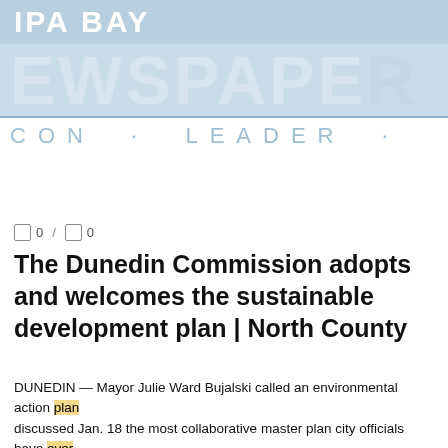PA BAY NEWSPAPER · CON · LEADER ·
0 / 0
The Dunedin Commission adopts and welcomes the sustainable development plan | North County
DUNEDIN — Mayor Julie Ward Bujalski called an environmental action plan discussed Jan. 18 the most collaborative master plan city officials have ever